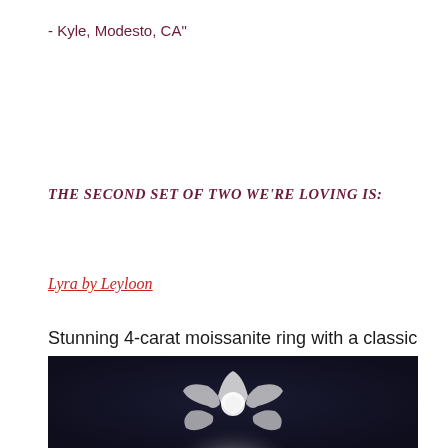- Kyle, Modesto, CA"
THE SECOND SET OF TWO WE'RE LOVING IS:
Lyra by Leyloon
Stunning 4-carat moissanite ring with a classic cathedral setting
[Figure (photo): Black and white photo showing what appears to be a ring or floral arrangement against a dark background, cropped at the bottom of the page]